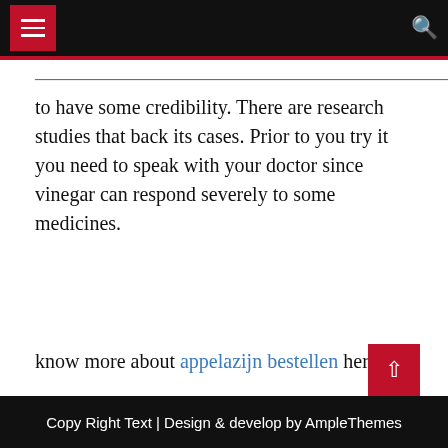to have some credibility. There are research studies that back its cases. Prior to you try it you need to speak with your doctor since vinegar can respond severely to some medicines.
know more about appelazijn bestellen here.
3 Nlp Benefits That Can Change Your Life
Apple cider vinegar Secrets
Copy Right Text | Design & develop by AmpleThemes